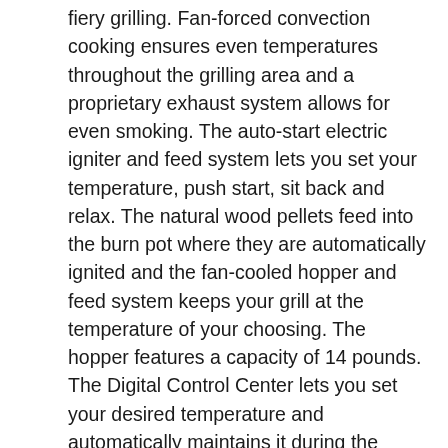fiery grilling. Fan-forced convection cooking ensures even temperatures throughout the grilling area and a proprietary exhaust system allows for even smoking. The auto-start electric igniter and feed system lets you set your temperature, push start, sit back and relax. The natural wood pellets feed into the burn pot where they are automatically ignited and the fan-cooled hopper and feed system keeps your grill at the temperature of your choosing. The hopper features a capacity of 14 pounds. The Digital Control Center lets you set your desired temperature and automatically maintains it during the grilling process. With the included food probe, you can set you desired food temperature and the grill will automatically go into smoke mode when that temperature is reached, preventing over cooking. The lid thermometer enables you to monitor the temperature inside the grill and the grease bucket catches run off grease from the flavor guard. The vented grill handle stays cool even when the grill is cooking at high temperatures The LG900 cart has a solid bottom shelf for storage and also features heavy-duty casters for easy mobility.